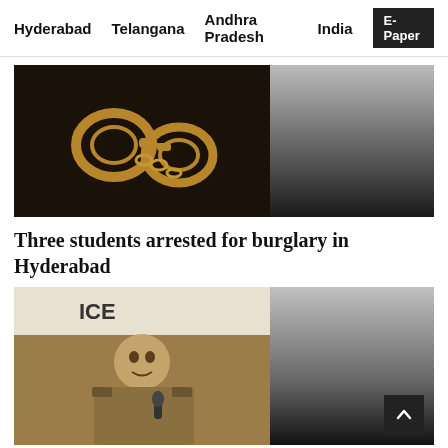Hyderabad   Telangana   Andhra Pradesh   India   E-Paper
[Figure (photo): Photo of handcuffs on a dark background (left) with gradient grey panel (right)]
Three students arrested for burglary in Hyderabad
[Figure (photo): Photo of a police officer in uniform speaking at a press conference (left) with gradient grey panel and scroll-to-top button (right)]
Aiming to enhance conviction rate, CV Anand